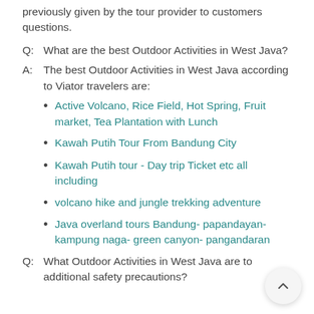previously given by the tour provider to customers questions.
Q:  What are the best Outdoor Activities in West Java?
A:  The best Outdoor Activities in West Java according to Viator travelers are:
Active Volcano, Rice Field, Hot Spring, Fruit market, Tea Plantation with Lunch
Kawah Putih Tour From Bandung City
Kawah Putih tour - Day trip Ticket etc all including
volcano hike and jungle trekking adventure
Java overland tours Bandung- papandayan- kampung naga- green canyon- pangandaran
Q:  What Outdoor Activities in West Java are to additional safety precautions?